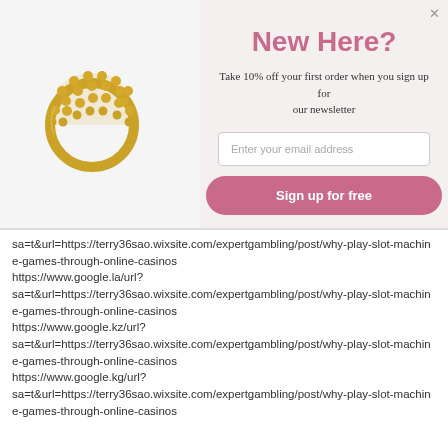[Figure (photo): Gold decorative ring with beaded fan/semicircle design on jewelry e-commerce modal popup]
New Here?
Take 10% off your first order when you sign up for our newsletter
sa=t&url=https://terry36sao.wixsite.com/expertgambling/post/why-play-slot-machine-games-through-online-casinos https://www.google.la/url? sa=t&url=https://terry36sao.wixsite.com/expertgambling/post/why-play-slot-machine-games-through-online-casinos https://www.google.kz/url? sa=t&url=https://terry36sao.wixsite.com/expertgambling/post/why-play-slot-machine-games-through-online-casinos https://www.google.kg/url? sa=t&url=https://terry36sao.wixsite.com/expertgambling/post/why-play-slot-machine-games-through-online-casinos